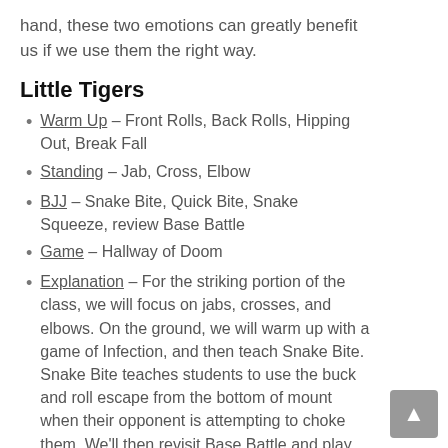hand, these two emotions can greatly benefit us if we use them the right way.
Little Tigers
Warm Up – Front Rolls, Back Rolls, Hipping Out, Break Fall
Standing – Jab, Cross, Elbow
BJJ – Snake Bite, Quick Bite, Snake Squeeze, review Base Battle
Game – Hallway of Doom
Explanation – For the striking portion of the class, we will focus on jabs, crosses, and elbows. On the ground, we will warm up with a game of Infection, and then teach Snake Bite. Snake Bite teaches students to use the buck and roll escape from the bottom of mount when their opponent is attempting to choke them. We'll then revisit Base Battle and play Sumo Wrestling if time allows.
Tigers – Whtie Belt
Standing – Defending Bear Bear